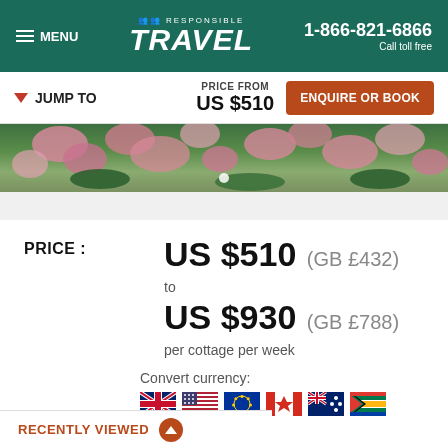MENU | Responsible Travel | 1-866-821-6866 Call toll free
JUMP TO | PRICE FROM US $510 | ENQUIRE OR BOOK
[Figure (photo): Banner image of pink tropical flowers and green foliage]
PRICE : US $510 (GB £432) to US $930 (GB £788) per cottage per week
Convert currency:
RECENTLY VIEWED